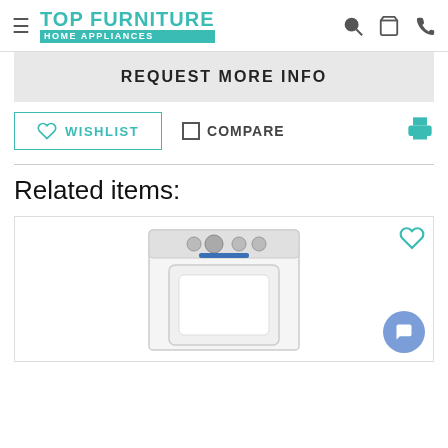TOP FURNITURE HOME APPLIANCES
REQUEST MORE INFO
WISHLIST
COMPARE
Related items:
[Figure (photo): Maytag white top-load dryer product image]